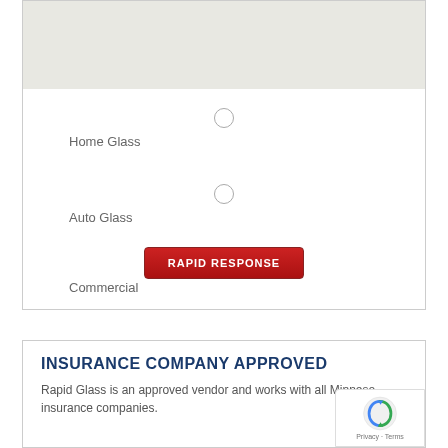[Figure (map): Cropped map area at top of form card with light gray/beige tile background]
Home Glass
Auto Glass
Commercial
RAPID RESPONSE
INSURANCE COMPANY APPROVED
Rapid Glass is an approved vendor and works with all Minnesota insurance companies.